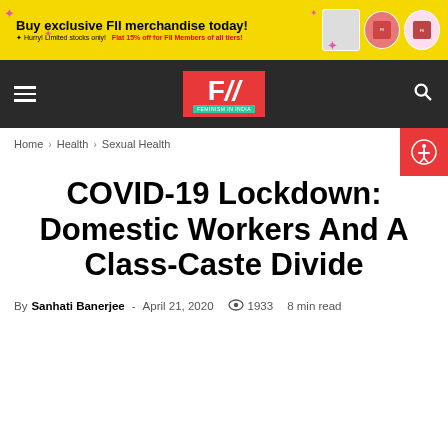[Figure (infographic): Yellow advertisement banner: 'Buy exclusive FII merchandise today!' with pink star decorations and product images (tote bag, mug). Subtext: 'Hurry! Limited stocks only!' and 'Flat 15% off for FII Members of all tiers!']
F// (Feminism In India) navigation bar with hamburger menu, logo, and search icon
Home › Health › Sexual Health
COVID-19 Lockdown: Domestic Workers And A Class-Caste Divide
By Sanhati Banerjee - April 21, 2020  👁 1933  8 min read